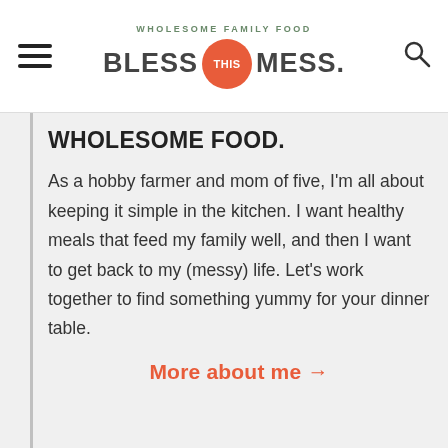WHOLESOME FAMILY FOOD BLESS THIS MESS.
WHOLESOME FOOD.
As a hobby farmer and mom of five, I'm all about keeping it simple in the kitchen. I want healthy meals that feed my family well, and then I want to get back to my (messy) life. Let's work together to find something yummy for your dinner table.
More about me →